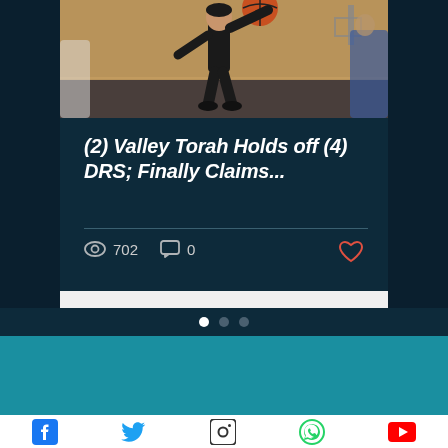[Figure (photo): Basketball player in black uniform reaching up for a layup on an indoor court]
(2) Valley Torah Holds off (4) DRS; Finally Claims...
702 views  0 comments
© 2022 MacsLive. Managed by Akiva Poppers.
Contact us at sarachek@macslive.com
Social icons: Facebook, Twitter, Instagram, WhatsApp, YouTube